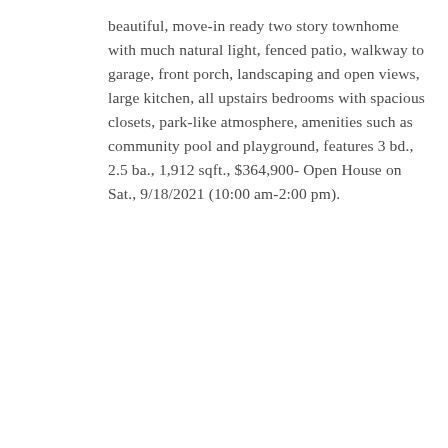beautiful, move-in ready two story townhome with much natural light, fenced patio, walkway to garage, front porch, landscaping and open views, large kitchen, all upstairs bedrooms with spacious closets, park-like atmosphere, amenities such as community pool and playground, features 3 bd., 2.5 ba., 1,912 sqft., $364,900- Open House on Sat., 9/18/2021 (10:00 am-2:00 pm).